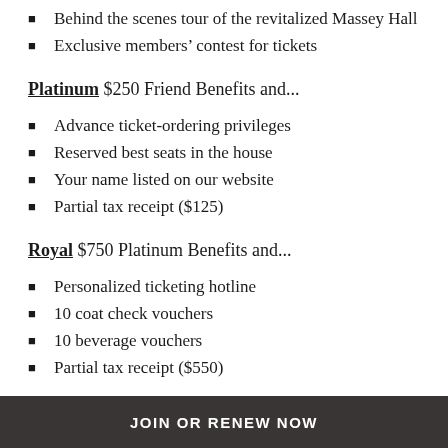Behind the scenes tour of the revitalized Massey Hall
Exclusive members' contest for tickets
Platinum $250 Friend Benefits and...
Advance ticket-ordering privileges
Reserved best seats in the house
Your name listed on our website
Partial tax receipt ($125)
Royal $750 Platinum Benefits and...
Personalized ticketing hotline
10 coat check vouchers
10 beverage vouchers
Partial tax receipt ($550)
JOIN OR RENEW NOW